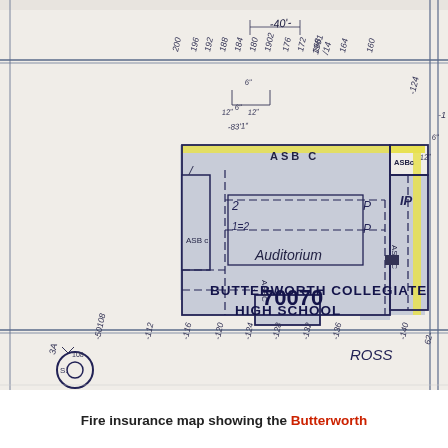[Figure (map): Fire insurance map excerpt showing a detailed architectural floor plan of Butterworth Collegiate High School (parcel number 70070), with an auditorium labeled, construction material codes (ASB C), lot dimensions, street markings including ROSS, and various measurement annotations. The map uses blue/navy line work on a cream background with yellow highlighting on certain building perimeters.]
Fire insurance map showing the Butterworth